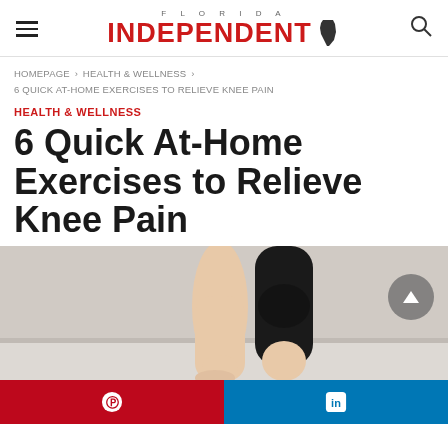FLORIDA INDEPENDENT — navigation header with hamburger menu and search icon
HOMEPAGE > HEALTH & WELLNESS > 6 QUICK AT-HOME EXERCISES TO RELIEVE KNEE PAIN
HEALTH & WELLNESS
6 Quick At-Home Exercises to Relieve Knee Pain
[Figure (photo): Close-up photo of a person's legs from knee down, wearing black leggings, standing on a light-colored floor. A scroll-to-top button (grey circle with up arrow) is visible in the lower right.]
[Figure (other): Social sharing bar with Pinterest (red background) and LinkedIn (blue background) buttons.]